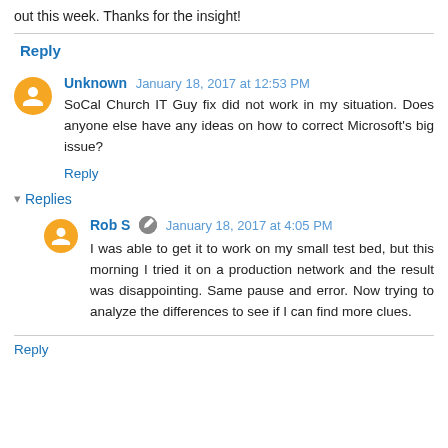out this week. Thanks for the insight!
Reply
Unknown  January 18, 2017 at 12:53 PM
SoCal Church IT Guy fix did not work in my situation. Does anyone else have any ideas on how to correct Microsoft's big issue?
Reply
▾ Replies
Rob S  January 18, 2017 at 4:05 PM
I was able to get it to work on my small test bed, but this morning I tried it on a production network and the result was disappointing. Same pause and error. Now trying to analyze the differences to see if I can find more clues.
Reply